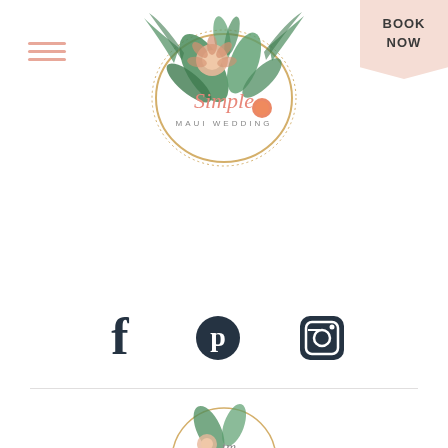[Figure (logo): Simple Maui Wedding logo: circular gold frame with tropical flowers and leaves, cursive 'Simple' text in coral/pink, 'MAUI WEDDING' in small caps below]
[Figure (infographic): Hamburger menu icon with three horizontal coral/pink lines]
BOOK NOW
[Figure (infographic): Social media icons row: Facebook (f), Pinterest (circle P), Instagram (camera icon), all in dark navy/teal color]
[Figure (logo): Partial bottom logo: circular gold frame with tropical flowers, 'tm' text, partially visible]